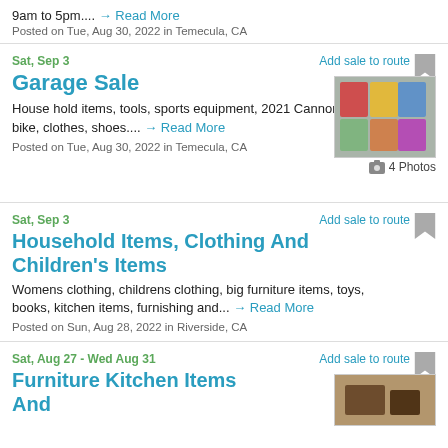9am to 5pm.... → Read More
Posted on Tue, Aug 30, 2022 in Temecula, CA
Sat, Sep 3
Add sale to route
Garage Sale
House hold items, tools, sports equipment, 2021 Cannondale Quick 5 bike, clothes, shoes.... → Read More
4 Photos
Posted on Tue, Aug 30, 2022 in Temecula, CA
Sat, Sep 3
Add sale to route
Household Items, Clothing And Children's Items
Womens clothing, childrens clothing, big furniture items, toys, books, kitchen items, furnishing and... → Read More
Posted on Sun, Aug 28, 2022 in Riverside, CA
Sat, Aug 27 - Wed Aug 31
Add sale to route
Furniture Kitchen Items And